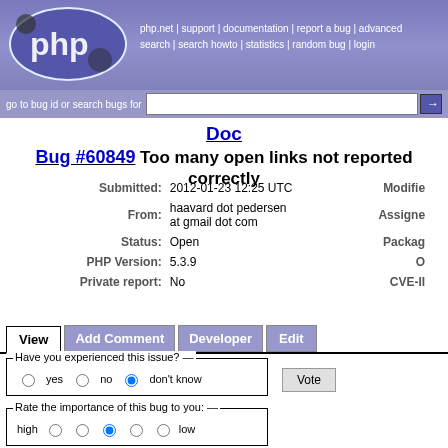[Figure (screenshot): PHP bug tracker website header with PHP logo and navigation links]
php.net | support | documentation | report a bug | advanced search | search howto | statistics | random bug | login
go to bug id or search bugs for
Doc Bug #60849 Too many open links not reported correctly
| Field | Value | Field2 | Value2 |
| --- | --- | --- | --- |
| Submitted: | 2012-01-23 12:25 UTC | Modified |  |
| From: | haavard dot pedersen at gmail dot com | Assigned |  |
| Status: | Open | Package |  |
| PHP Version: | 5.3.9 | OS |  |
| Private report: | No | CVE-ID |  |
View | Add Comment | Developer | Edit
Have you experienced this issue? yes no don't know
Rate the importance of this bug to you: high low
Vote